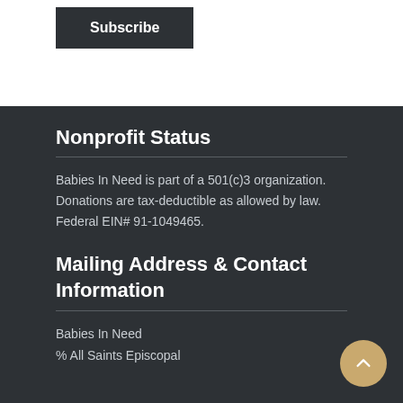Subscribe
Nonprofit Status
Babies In Need is part of a 501(c)3 organization. Donations are tax-deductible as allowed by law. Federal EIN# 91-1049465.
Mailing Address & Contact Information
Babies In Need
% All Saints Episcopal